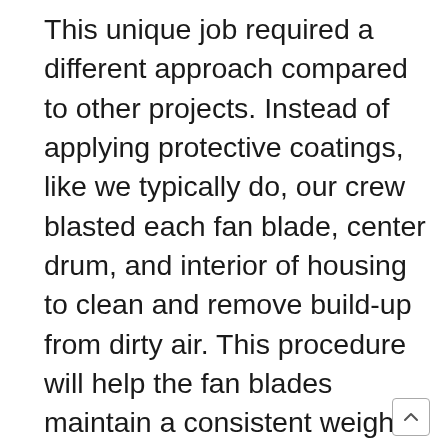This unique job required a different approach compared to other projects. Instead of applying protective coatings, like we typically do, our crew blasted each fan blade, center drum, and interior of housing to clean and remove build-up from dirty air. This procedure will help the fan blades maintain a consistent weight – which helps keep the blades moving in unison. It is a proactive procedure that will increase the longevity of this unit. “Everything went well. The crew was professional, the project was completed on time, and the job site was clean. It was well planned out; I couldn’t ask for much more.” –